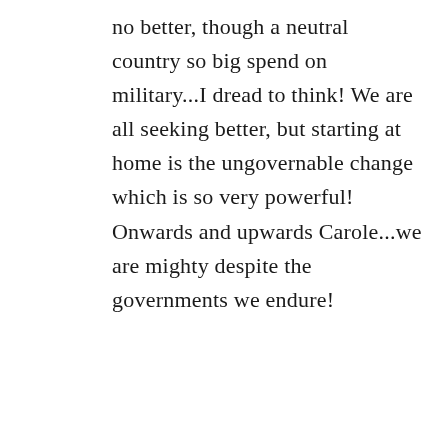no better, though a neutral country so big spend on military...I dread to think! We are all seeking better, but starting at home is the ungovernable change which is so very powerful! Onwards and upwards Carole...we are mighty despite the governments we endure!